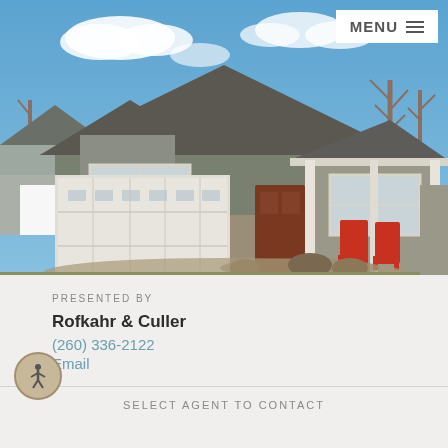[Figure (photo): Exterior photo of a craftsman-style ranch home with a two-car garage, covered front porch with white columns, stone accents, and red chairs on the porch. Blue sky with clouds in background.]
PRESENTED BY
Rofkahr & Culler
(260) 336-2122
Email
SELECT AGENT TO CONTACT